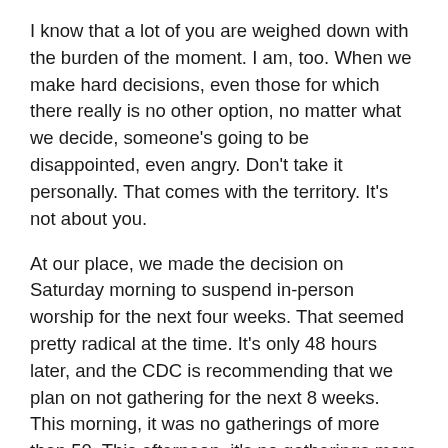I know that a lot of you are weighed down with the burden of the moment. I am, too. When we make hard decisions, even those for which there really is no other option, no matter what we decide, someone's going to be disappointed, even angry. Don't take it personally. That comes with the territory. It's not about you.
At our place, we made the decision on Saturday morning to suspend in-person worship for the next four weeks. That seemed pretty radical at the time. It's only 48 hours later, and the CDC is recommending that we plan on not gathering for the next 8 weeks. This morning, it was no gatherings of more than 50. This afternoon, it's no gatherings more than 10.
I came away from our meeting on Saturday with a deep respect for our leaders. They knew the gravity of the